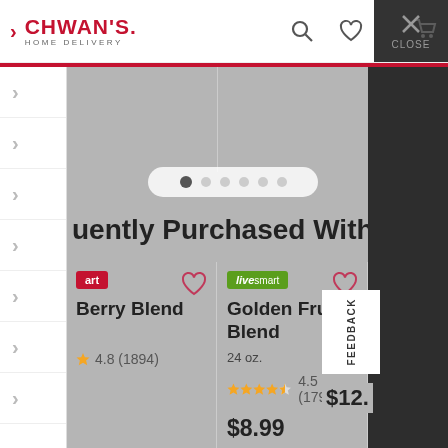CHWAN'S HOME DELIVERY
uently Purchased With
Berry Blend  4.8 (1894)
live smart  Golden Fruit Blend  24 oz.  4.5 (1797)  $8.99
$12.